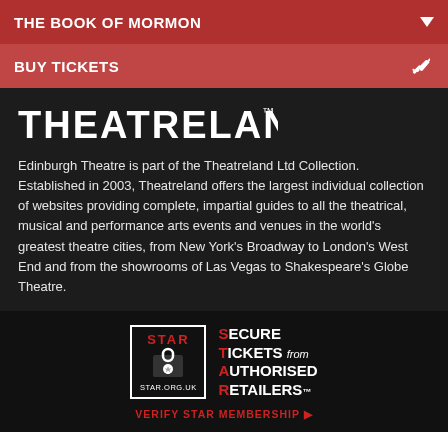THE BOOK OF MORMON
BUY TICKETS
[Figure (logo): Theatreland Ltd logo in white block letters on dark background]
Edinburgh Theatre is part of the Theatreland Ltd Collection. Established in 2003, Theatreland offers the largest individual collection of websites providing complete, impartial guides to all the theatrical, musical and performance arts events and venues in the world's greatest theatre cities, from New York's Broadway to London's West End and from the showrooms of Las Vegas to Shakespeare's Globe Theatre.
[Figure (logo): STAR - Secure Tickets from Authorised Retailers badge with padlock icon and STAR.ORG.UK text, and VERIFY STAR MEMBERSHIP link]
You know the drill, websites need cookies to make them work. Details of how we do it here.
Got it!